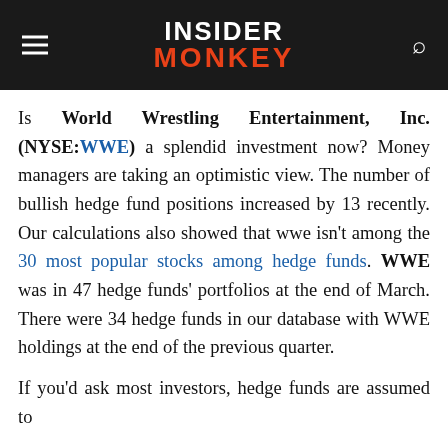INSIDER MONKEY
Is World Wrestling Entertainment, Inc. (NYSE:WWE) a splendid investment now? Money managers are taking an optimistic view. The number of bullish hedge fund positions increased by 13 recently. Our calculations also showed that wwe isn’t among the 30 most popular stocks among hedge funds. WWE was in 47 hedge funds’ portfolios at the end of March. There were 34 hedge funds in our database with WWE holdings at the end of the previous quarter.
If you’d ask most investors, hedge funds are assumed to...